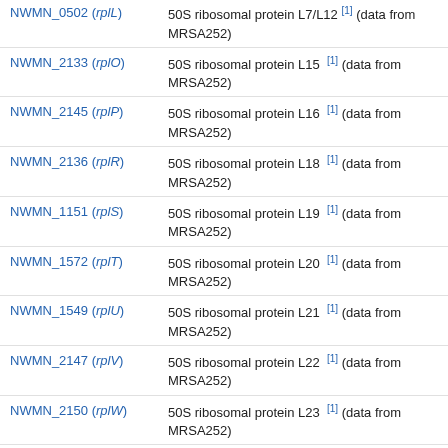NWMN_0502 (rplL) — 50S ribosomal protein L7/L12 [1] (data from MRSA252)
NWMN_2133 (rplO) — 50S ribosomal protein L15 [1] (data from MRSA252)
NWMN_2145 (rplP) — 50S ribosomal protein L16 [1] (data from MRSA252)
NWMN_2136 (rplR) — 50S ribosomal protein L18 [1] (data from MRSA252)
NWMN_1151 (rplS) — 50S ribosomal protein L19 [1] (data from MRSA252)
NWMN_1572 (rplT) — 50S ribosomal protein L20 [1] (data from MRSA252)
NWMN_1549 (rplU) — 50S ribosomal protein L21 [1] (data from MRSA252)
NWMN_2147 (rplV) — 50S ribosomal protein L22 [1] (data from MRSA252)
NWMN_2150 (rplW) — 50S ribosomal protein L23 [1] (data from MRSA252)
NWMN_1166 (rpsB) — 30S ribosomal protein S2 [1] (data from MRSA252)
NWMN_2146 (rpsC) — 30S ribosomal protein S3 [1] (data from MRSA252)